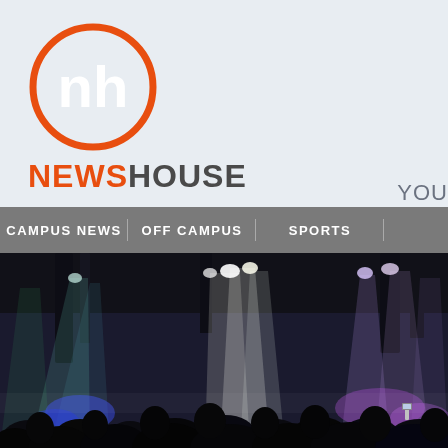[Figure (logo): NewsHouse logo: orange circle with white 'nh' monogram letters inside]
NEWSHOUSE
YOU
[Figure (other): Navigation bar with items: CAMPUS NEWS, OFF CAMPUS, SPORTS, and a partially visible fourth item]
[Figure (photo): Concert venue photo showing stage lights with colorful beams (white, blue, purple) shining over a crowd of silhouetted audience members]